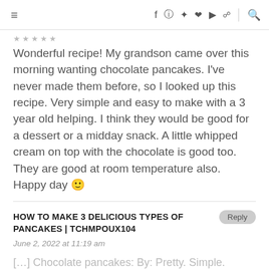≡   f  [instagram]  [pinterest]  [heart]  [youtube]  [rss]   [search]
★★★★★
Wonderful recipe! My grandson came over this morning wanting chocolate pancakes. I've never made them before, so I looked up this recipe. Very simple and easy to make with a 3 year old helping. I think they would be good for a dessert or a midday snack. A little whipped cream on top with the chocolate is good too. They are good at room temperature also. Happy day 🙂
HOW TO MAKE 3 DELICIOUS TYPES OF PANCAKES | TCHMPOUX104
June 2, 2022 at 11:19 am
[…] Chocolate pancakes: By: Pretty. Simple. Sweet […]